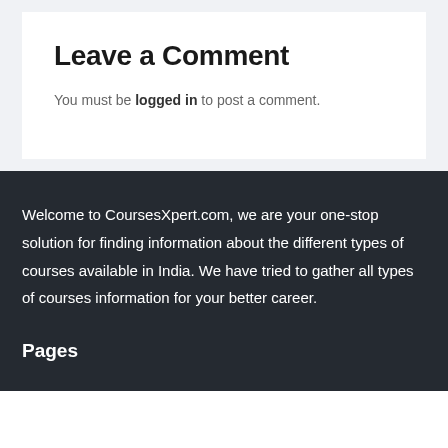Leave a Comment
You must be logged in to post a comment.
Welcome to CoursesXpert.com, we are your one-stop solution for finding information about the different types of courses available in India. We have tried to gather all types of courses information for your better career.
Pages